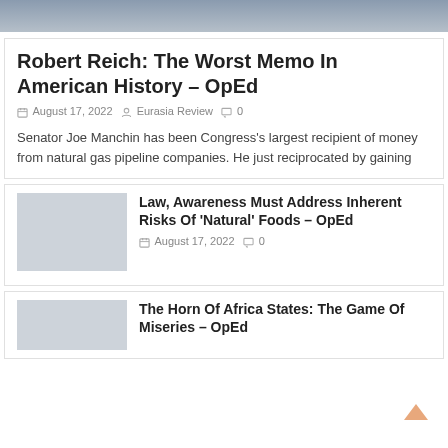[Figure (photo): Top portion of a person's photo, cropped showing shoulders and lower face]
Robert Reich: The Worst Memo In American History – OpEd
August 17, 2022  Eurasia Review  0
Senator Joe Manchin has been Congress's largest recipient of money from natural gas pipeline companies. He just reciprocated by gaining
[Figure (photo): Thumbnail image placeholder for second article]
Law, Awareness Must Address Inherent Risks Of 'Natural' Foods – OpEd
August 17, 2022  0
[Figure (photo): Thumbnail image placeholder for third article]
The Horn Of Africa States: The Game Of Miseries – OpEd